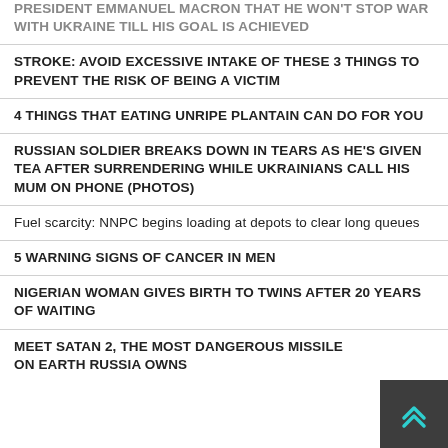PRESIDENT EMMANUEL MACRON THAT HE WON'T STOP WAR WITH UKRAINE TILL HIS GOAL IS ACHIEVED
STROKE: AVOID EXCESSIVE INTAKE OF THESE 3 THINGS TO PREVENT THE RISK OF BEING A VICTIM
4 THINGS THAT EATING UNRIPE PLANTAIN CAN DO FOR YOU
RUSSIAN SOLDIER BREAKS DOWN IN TEARS AS HE'S GIVEN TEA AFTER SURRENDERING WHILE UKRAINIANS CALL HIS MUM ON PHONE (PHOTOS)
Fuel scarcity: NNPC begins loading at depots to clear long queues
5 WARNING SIGNS OF CANCER IN MEN
NIGERIAN WOMAN GIVES BIRTH TO TWINS AFTER 20 YEARS OF WAITING
MEET SATAN 2, THE MOST DANGEROUS MISSILE ON EARTH RUSSIA OWNS